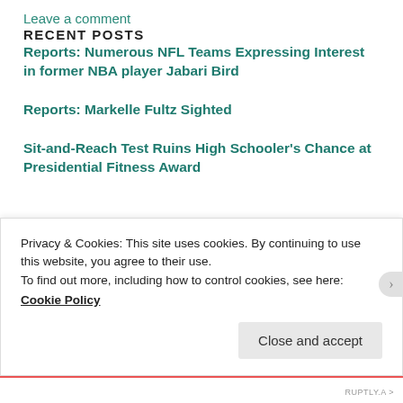Leave a comment
RECENT POSTS
Reports: Numerous NFL Teams Expressing Interest in former NBA player Jabari Bird
Reports: Markelle Fultz Sighted
Sit-and-Reach Test Ruins High Schooler's Chance at Presidential Fitness Award
Privacy & Cookies: This site uses cookies. By continuing to use this website, you agree to their use.
To find out more, including how to control cookies, see here:
Cookie Policy
Close and accept